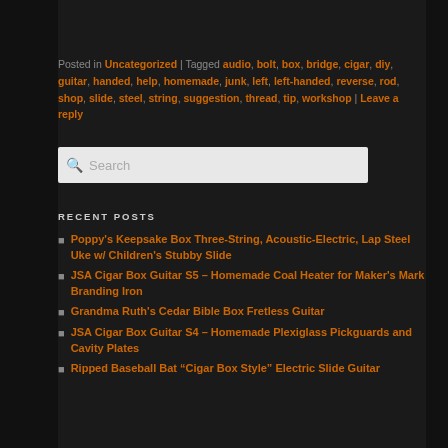Posted in Uncategorized | Tagged audio, bolt, box, bridge, cigar, diy, guitar, handed, help, homemade, junk, left, left-handed, reverse, rod, shop, slide, steel, string, suggestion, thread, tip, workshop | Leave a reply
RECENT POSTS
Poppy's Keepsake Box Three-String, Acoustic-Electric, Lap Steel Uke w/ Children's Stubby Slide
JSA Cigar Box Guitar S5 – Homemade Coal Heater for Maker's Mark Branding Iron
Grandma Ruth's Cedar Bible Box Fretless Guitar
JSA Cigar Box Guitar S4 – Homemade Plexiglass Pickguards and Cavity Plates
Ripped Baseball Bat “Cigar Box Style” Electric Slide Guitar